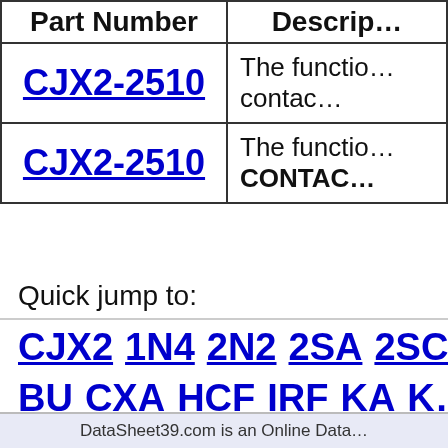| Part Number | Descrip... |
| --- | --- |
| CJX2-2510 | The functio... contac... |
| CJX2-2510 | The functio... CONTAC... |
Quick jump to:
CJX2  1N4  2N2  2SA  2SC  BU  CXA  HCF  IRF  KA  K...  ST  STK  TDA  TL  UA
DataSheet39.com is an Online Data...